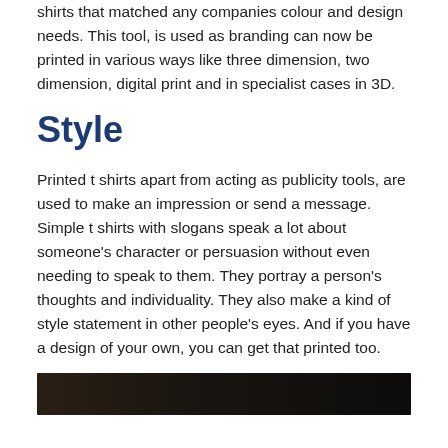shirts that matched any companies colour and design needs. This tool, is used as branding can now be printed in various ways like three dimension, two dimension, digital print and in specialist cases in 3D.
Style
Printed t shirts apart from acting as publicity tools, are used to make an impression or send a message. Simple t shirts with slogans speak a lot about someone’s character or persuasion without even needing to speak to them. They portray a person’s thoughts and individuality. They also make a kind of style statement in other people’s eyes. And if you have a design of your own, you can get that printed too.
[Figure (photo): Dark photograph, mostly black, showing a partial view of a figure or object, bottom strip of the page]